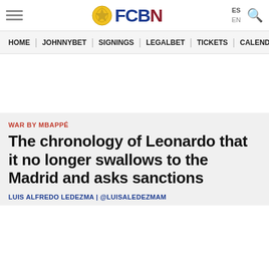FCBN
HOME | JOHNNYBET | SIGNINGS | LEGALBET | TICKETS | CALENDAR
WAR BY MBAPPÉ
The chronology of Leonardo that it no longer swallows to the Madrid and asks sanctions
LUIS ALFREDO LEDEZMA | @LUISALEDEZMAM